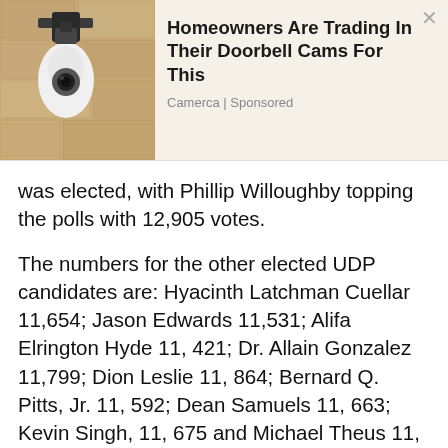[Figure (photo): Advertisement banner: Homeowners Are Trading In Their Doorbell Cams For This, Camerca | Sponsored, with a photo of a security camera mounted on a wall.]
was elected, with Phillip Willoughby topping the polls with 12,905 votes.
The numbers for the other elected UDP candidates are: Hyacinth Latchman Cuellar 11,654; Jason Edwards 11,531; Alifa Elrington Hyde 11, 421; Dr. Allain Gonzalez 11,799; Dion Leslie 11, 864; Bernard Q. Pitts, Jr. 11, 592; Dean Samuels 11, 663; Kevin Singh, 11, 675 and Michael Theus 11, 628.
For the People’s United Party (PUP), Lennox “DJ Tambran” Young topped the poll with 8, 106 votes. Jermyn Galvez 7, 548; David Gonzalez 7, 496; Micah Goodin 7, 622; Delroy Herrera 7, 509; Dalthrude Hulton 7438; Michael